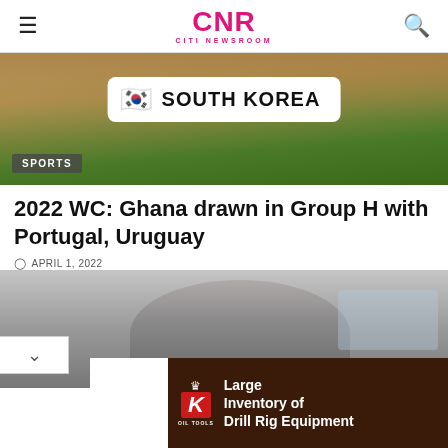CNR CITI NEWSROOM
[Figure (photo): South Korea banner with flag emoji and text 'SOUTH KOREA' on a stadium background with green grass. Sports tag shown at bottom left.]
2022 WC: Ghana drawn in Group H with Portugal, Uruguay
APRIL 1, 2022
[Figure (photo): Partial photo of a person with gray hair in front of a blurred background with signage.]
[Figure (other): Advertisement banner for King Oil Tools: Large Inventory of Drill Rig Equipment]